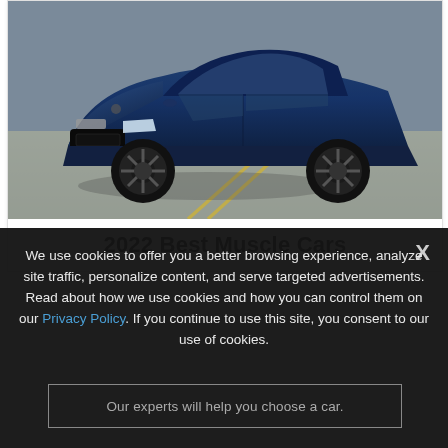[Figure (photo): Blue Ford Mustang muscle car photographed from front-left angle on a parking lot/road surface with yellow line markings visible on the ground.]
2022 Best Muscle Cars
We use cookies to offer you a better browsing experience, analyze site traffic, personalize content, and serve targeted advertisements. Read about how we use cookies and how you can control them on our Privacy Policy. If you continue to use this site, you consent to our use of cookies.
Our experts will help you choose a car.